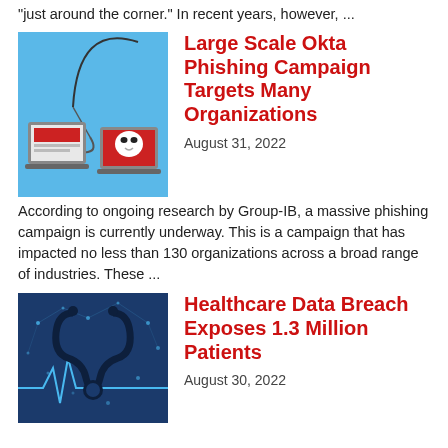"just around the corner." In recent years, however, ...
[Figure (illustration): Two laptops, one open with a phishing alert screen, one with a hacker mask, connected by a fishing hook arc on a blue background]
Large Scale Okta Phishing Campaign Targets Many Organizations
August 31, 2022
According to ongoing research by Group-IB, a massive phishing campaign is currently underway. This is a campaign that has impacted no less than 130 organizations across a broad range of industries. These ...
[Figure (illustration): Healthcare themed image with stethoscope silhouette over a glowing blue digital network background with heartbeat line]
Healthcare Data Breach Exposes 1.3 Million Patients
August 30, 2022